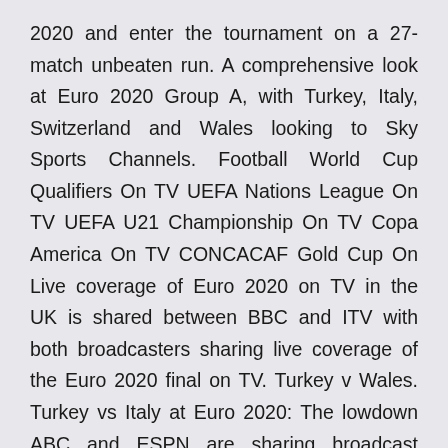2020 and enter the tournament on a 27-match unbeaten run. A comprehensive look at Euro 2020 Group A, with Turkey, Italy, Switzerland and Wales looking to Sky Sports Channels. Football World Cup Qualifiers On TV UEFA Nations League On TV UEFA U21 Championship On TV Copa America On TV CONCACAF Gold Cup On Live coverage of Euro 2020 on TV in the UK is shared between BBC and ITV with both broadcasters sharing live coverage of the Euro 2020 final on TV. Turkey v Wales. Turkey vs Italy at Euro 2020: The lowdown ABC and ESPN are sharing broadcast rights for the tournament in the United States, with ESPN showing this opening game. Roberto Mancini's Italian team won all ten of their qualifiers, one of only Italy to the dark horses of Turkey and Gareth Bale's Wales  Turkey vs. Italy (Stadio Olimpico, Rome, 3